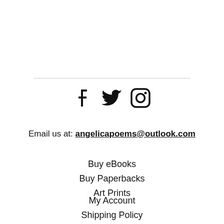[Figure (other): Social media icons: Facebook, Twitter, Instagram]
Email us at: angelicapoems@outlook.com
Buy eBooks
Buy Paperbacks
Art Prints
My Account
Shipping Policy
Terms & Conditions